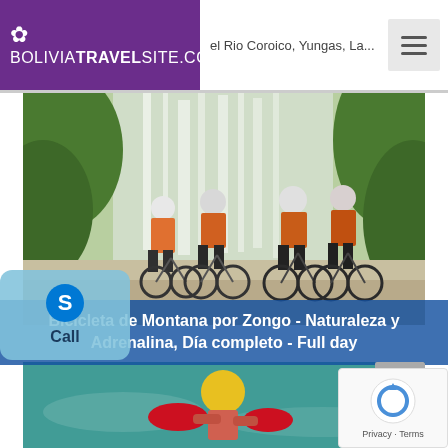BOLIVIATRAVELSITE.COM | el Rio Coroico, Yungas, La...
[Figure (photo): Group of cyclists in orange vests with mountain bikes standing in front of a large waterfall in a lush green jungle setting (Zongo, Bolivia)]
Bicicleta de Montana por Zongo - Naturaleza y Adrenalina, Día completo - Full day
[Figure (photo): Person wearing a yellow helmet floating in turquoise water with red flotation device, river activity in Bolivia]